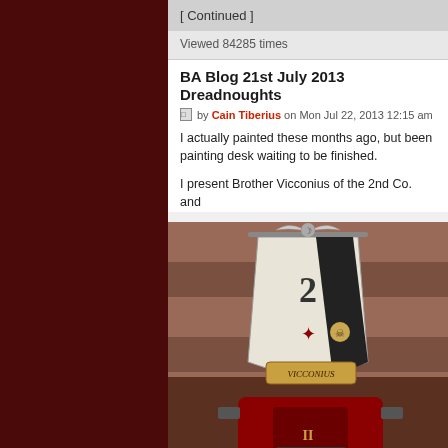[ Continued ]
Viewed 84285 times
BA Blog 21st July 2013 Dreadnoughts
by Cain Tiberius on Mon Jul 22, 2013 12:15 am
I actually painted these months ago, but been painting desk waiting to be finished.
I present Brother Vicconius of the 2nd Co. and
[Figure (photo): Photo of a painted Warhammer 40K Blood Angels Dreadnought miniature named Brother Vicconius, with a banner showing the number 2 and Blood Angels iconography, painted in red armor]